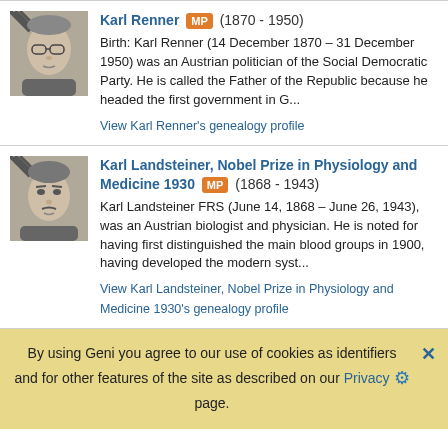[Figure (photo): Black and white photo of Karl Renner, older man with glasses]
Karl Renner MP (1870 - 1950)
Birth: Karl Renner (14 December 1870 – 31 December 1950) was an Austrian politician of the Social Democratic Party. He is called the Father of the Republic because he headed the first government in G...
View Karl Renner's genealogy profile
[Figure (photo): Black and white photo of Karl Landsteiner, older man]
Karl Landsteiner, Nobel Prize in Physiology and Medicine 1930 MP (1868 - 1943)
Karl Landsteiner FRS (June 14, 1868 – June 26, 1943), was an Austrian biologist and physician. He is noted for having first distinguished the main blood groups in 1900, having developed the modern syst...
View Karl Landsteiner, Nobel Prize in Physiology and Medicine 1930's genealogy profile
By using Geni you agree to our use of cookies as identifiers and for other features of the site as described on our Privacy page.